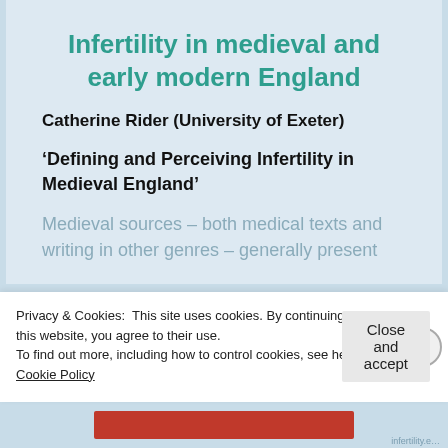Infertility in medieval and early modern England
Catherine Rider (University of Exeter)
‘Defining and Perceiving Infertility in Medieval England’
Medieval sources – both medical texts and writing in other genres – generally present
Privacy & Cookies: This site uses cookies. By continuing to use this website, you agree to their use.
To find out more, including how to control cookies, see here: Cookie Policy
Close and accept